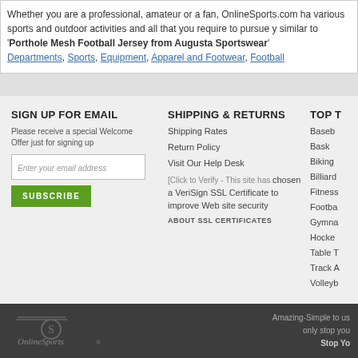Whether you are a professional, amateur or a fan, OnlineSports.com ha... various sports and outdoor activities and all that you require to pursue y... similar to 'Porthole Mesh Football Jersey from Augusta Sportswear'
Departments, Sports, Equipment, Apparel and Footwear, Football
SIGN UP FOR EMAIL
Please receive a special Welcome Offer just for signing up
SHIPPING & RETURNS
Shipping Rates
Return Policy
Visit Our Help Desk
Click to Verify - This site has chosen a VeriSign SSL Certificate to improve Web site security
ABOUT SSL CERTIFICATES
TOP T
Baseb
Bask
Biking
Billiard
Fitness
Footba
Gymna
Hocke
Table T
Track A
Volleyb
Amazing-Simple to us... only stop you... Stop Yo...